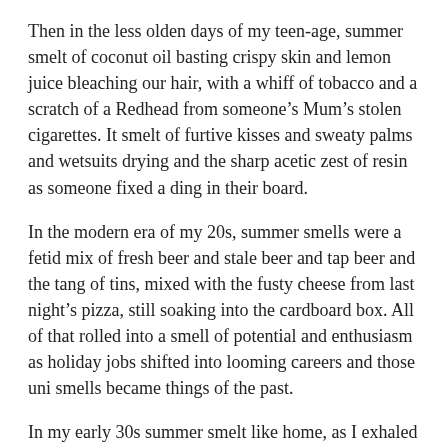Then in the less olden days of my teen-age, summer smelt of coconut oil basting crispy skin and lemon juice bleaching our hair, with a whiff of tobacco and a scratch of a Redhead from someone’s Mum’s stolen cigarettes. It smelt of furtive kisses and sweaty palms and wetsuits drying and the sharp acetic zest of resin as someone fixed a ding in their board.
In the modern era of my 20s, summer smells were a fetid mix of fresh beer and stale beer and tap beer and the tang of tins, mixed with the fusty cheese from last night’s pizza, still soaking into the cardboard box. All of that rolled into a smell of potential and enthusiasm as holiday jobs shifted into looming careers and those uni smells became things of the past.
In my early 30s summer smelt like home, as I exhaled into the arms of the safest man in the world, and inhaled security blended with promise of a future unexpected. The smells of proper coffee and dry-hot Melbourne tar, of salt from the bay mixed with the fumes of industriousness became the smell of all of my new summers.